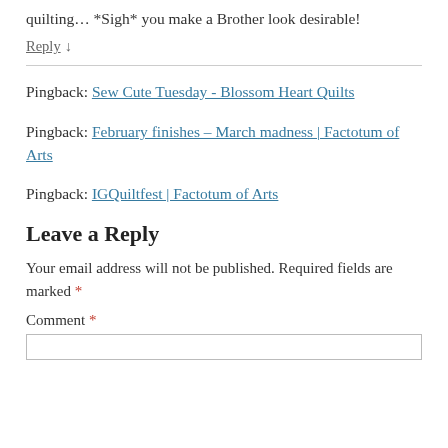quilting… *Sigh* you make a Brother look desirable!
Reply ↓
Pingback: Sew Cute Tuesday - Blossom Heart Quilts
Pingback: February finishes – March madness | Factotum of Arts
Pingback: IGQuiltfest | Factotum of Arts
Leave a Reply
Your email address will not be published. Required fields are marked *
Comment *